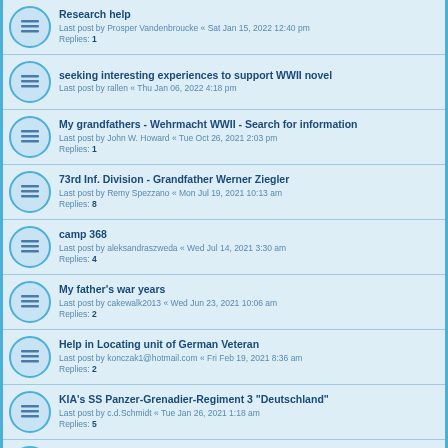Research help
Last post by Prosper Vandenbroucke « Sat Jan 15, 2022 12:40 pm
Replies: 1
seeking interesting experiences to support WWII novel
Last post by rallen « Thu Jan 06, 2022 4:18 pm
My grandfathers - Wehrmacht WWII - Search for information
Last post by John W. Howard « Tue Oct 26, 2021 2:03 pm
Replies: 1
73rd Inf. Division - Grandfather Werner Ziegler
Last post by Remy Spezzano « Mon Jul 19, 2021 10:13 am
Replies: 8
camp 368
Last post by aleksandraszweda « Wed Jul 14, 2021 3:30 am
Replies: 4
My father's war years
Last post by cakewalk2013 « Wed Jun 23, 2021 10:06 am
Replies: 2
Help in Locating unit of German Veteran
Last post by konczak1@hotmail.com « Fri Feb 19, 2021 8:36 am
Replies: 2
KIA's SS Panzer-Grenadier-Regiment 3 "Deutschland"
Last post by c.d.Schmidt « Tue Jan 26, 2021 1:18 am
Replies: 5
Experiences of Germans with recruitment for Foreign Legion